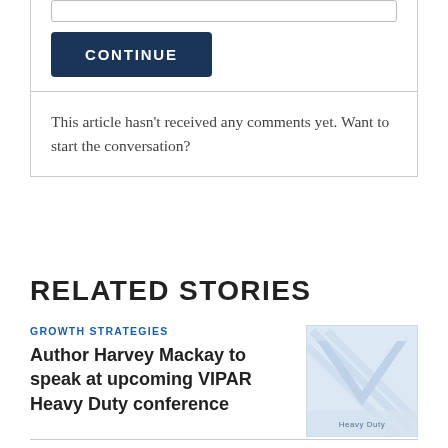[Figure (screenshot): Input field (text bar) at top of comment box]
[Figure (screenshot): Dark blue CONTINUE button]
This article hasn't received any comments yet. Want to start the conversation?
RELATED STORIES
GROWTH STRATEGIES
Author Harvey Mackay to speak at upcoming VIPAR Heavy Duty conference
[Figure (logo): VIPAR Heavy Duty logo placeholder image]